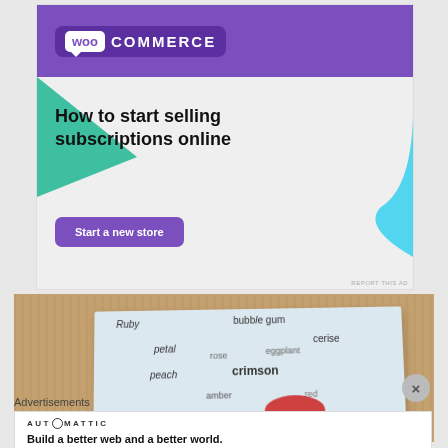[Figure (screenshot): WooCommerce advertisement banner: purple header with WooCommerce logo, white body with headline 'How to start selling subscriptions online', purple 'Start a new store' button, teal/green triangle and blue decorative shape]
[Figure (photo): Photo of a white paper on a wooden surface showing color name words: Ruby, bubble gum, cerise, petal, eggplant, rose, peach, crimson, amber, red]
Advertisements
[Figure (screenshot): Automattic advertisement card with logo and tagline 'Build a better web and a better world.']